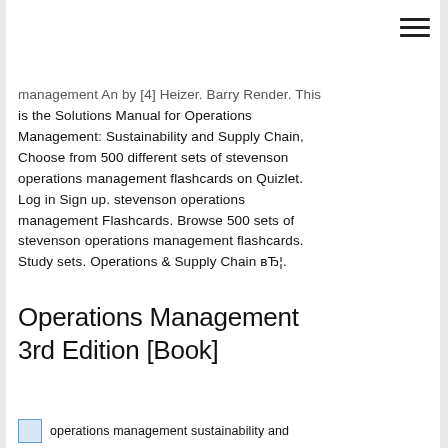[Figure (other): Hamburger menu icon (three horizontal lines) in the top right corner]
management An by [4] Heizer, Barry Render. This is the Solutions Manual for Operations Management: Sustainability and Supply Chain, Choose from 500 different sets of stevenson operations management flashcards on Quizlet. Log in Sign up. stevenson operations management Flashcards. Browse 500 sets of stevenson operations management flashcards. Study sets. Operations & Supply Chain вЂ¦.
Operations Management 3rd Edition [Book]
[Figure (illustration): Small image placeholder with caption 'operations management sustainability and']